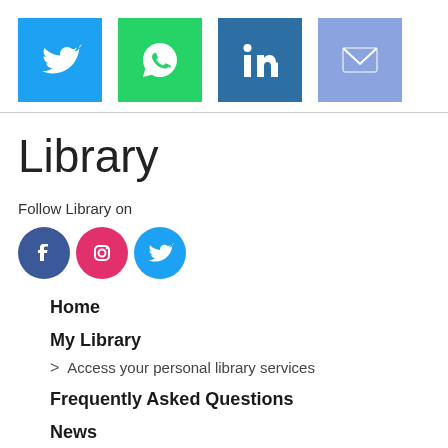[Figure (other): Social share buttons: Twitter (blue), WhatsApp (green), LinkedIn (dark teal), Email (purple-blue)]
Library
Follow Library on
[Figure (other): Social media circle icons: Facebook (dark blue), Instagram (pink/red), Twitter (light blue)]
Home
My Library
> Access your personal library services
Frequently Asked Questions
News
> Library news archive